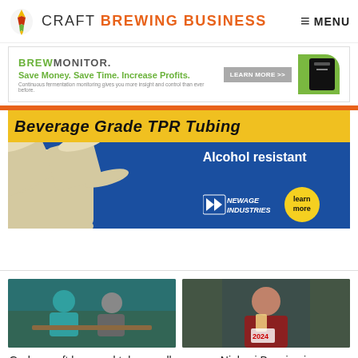CRAFT BREWING BUSINESS  MENU
[Figure (screenshot): BrewMonitor advertisement: green/white banner with text 'BREWMONITOR. LEARN MORE >> Save Money. Save Time. Increase Profits. Continuous fermentation monitoring gives you more insight and control than ever before.']
[Figure (screenshot): NewAge Industries advertisement for Beverage Grade TPR Tubing, Alcohol resistant, blue and yellow banner with tubing images and company logo with 'learn more' button]
[Figure (photo): Two people sitting at a table with drinks]
Grab a craft beer and take a walk through
[Figure (photo): Woman holding a glass of beer, wearing a racing bib number 2024]
Ninkasi Brewing is